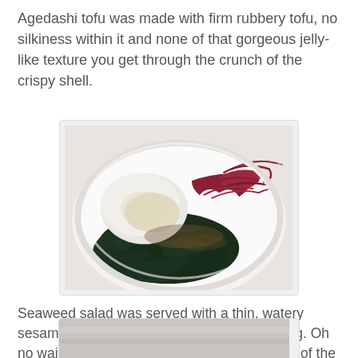Agedashi tofu was made with firm rubbery tofu, no silkiness within it and none of that gorgeous jelly-like texture you get through the crunch of the crispy shell.
[Figure (photo): A white bowl containing seaweed salad with dark green seaweed, white daikon radish or tofu, and red/pink seaweed garnish with brown sauce.]
Seaweed salad was served with a thin, watery sesame sauce on the side. It tasted of nothing. Oh no wait, the sesame sauce gave it a faint hint of the seed and the tang of vinegar. At £6.50, it seemed a whopping rip-off. We didn't finish it.
[Figure (photo): Partial view of another dish, cropped at bottom of page.]